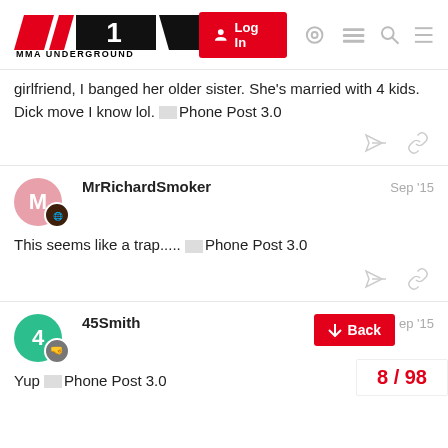MMA Underground — Log In
girlfriend, I banged her older sister. She's married with 4 kids. Dick move I know lol. [Phone Post 3.0]
MrRichardSmoker — Sep '15
This seems like a trap..... [Phone Post 3.0]
45Smith — Sep '15
Yup [Phone Post 3.0]